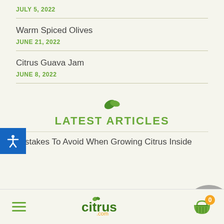JULY 5, 2022
Warm Spiced Olives
JUNE 21, 2022
Citrus Guava Jam
JUNE 8, 2022
LATEST ARTICLES
Mistakes To Avoid When Growing Citrus Inside
citrus .com